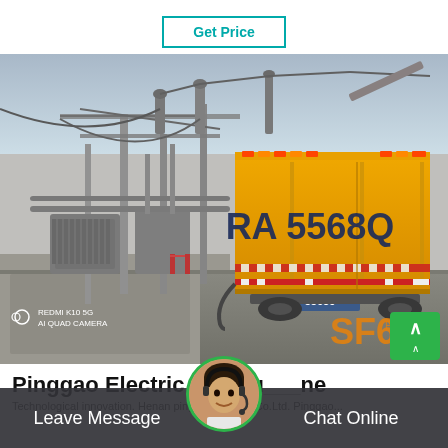Get Price
[Figure (photo): A yellow truck (license plate 5568Q) parked at a high-voltage electrical substation with power transformers and transmission line equipment. Text on truck side reads 'RA 5568Q'. Bottom-left shows 'REDMI K10 5G AI QUAD CAMERA' watermark. Bottom-right shows 'SF6' watermark in orange.]
Pinggao Electric SF6 pu_ne
Leave Message
Chat Online
Technological innovation. Henan pinggao Electric Co.Ltd. Pinggao...